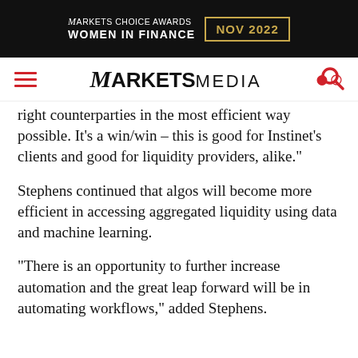[Figure (logo): Markets Choice Awards Women in Finance NOV 2022 banner advertisement on black background with gold date box]
ARKETSMEDIA (navigation bar with hamburger menu and search icon)
right counterparties in the most efficient way possible. It’s a win/win – this is good for Instinet’s clients and good for liquidity providers, alike.”
Stephens continued that algos will become more efficient in accessing aggregated liquidity using data and machine learning.
“There is an opportunity to further increase automation and the great leap forward will be in automating workflows,” added Stephens.